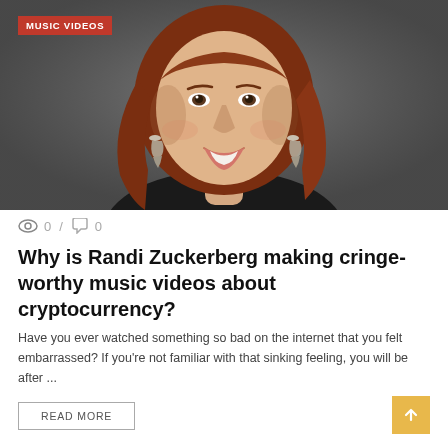[Figure (photo): Woman with red/auburn hair, smiling, wearing dark clothing and decorative earrings, photographed against a dark gray background. Red badge reading MUSIC VIDEOS in top left corner.]
0  /  0
Why is Randi Zuckerberg making cringe-worthy music videos about cryptocurrency?
Have you ever watched something so bad on the internet that you felt embarrassed? If you're not familiar with that sinking feeling, you will be after ...
READ MORE